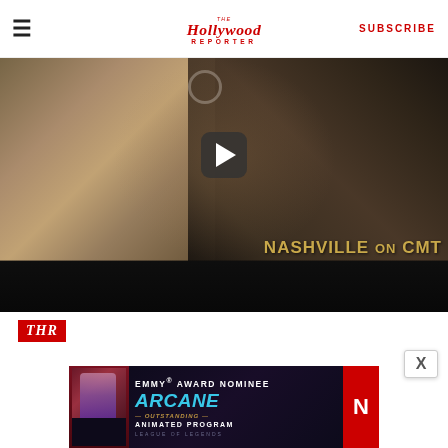≡  The Hollywood Reporter  SUBSCRIBE
[Figure (screenshot): Video thumbnail showing two people in an intimate scene with text 'NASHVILLE on CMT' overlaid in gold, with a YouTube-style play button in center]
[Figure (logo): THR logo in red italic text on red background]
[Figure (screenshot): Advertisement banner for Arcane on Netflix: EMMY AWARD NOMINEE, ARCANE, OUTSTANDING ANIMATED PROGRAM, LEAGUE OF LEGENDS]